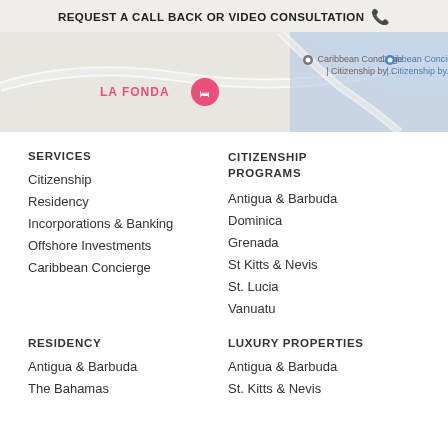REQUEST A CALL BACK OR VIDEO CONSULTATION 📞
[Figure (map): Google Maps screenshot showing Caribbean Concierge | Citizenship by... location pins, with LA FONDA label and pink hotel icon on the left side, blue road/water area on the right]
SERVICES
Citizenship
Residency
Incorporations & Banking
Offshore Investments
Caribbean Concierge
CITIZENSHIP PROGRAMS
Antigua & Barbuda
Dominica
Grenada
St Kitts & Nevis
St. Lucia
Vanuatu
RESIDENCY
Antigua & Barbuda
The Bahamas
LUXURY PROPERTIES
Antigua & Barbuda
St. Kitts & Nevis